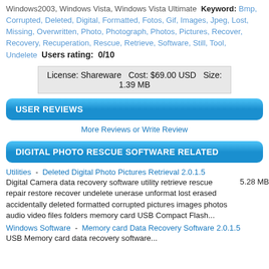Windows2003, Windows Vista, Windows Vista Ultimate  Keyword: Bmp, Corrupted, Deleted, Digital, Formatted, Fotos, Gif, Images, Jpeg, Lost, Missing, Overwritten, Photo, Photograph, Photos, Pictures, Recover, Recovery, Recuperation, Rescue, Retrieve, Software, Still, Tool, Undelete  Users rating: 0/10
License: Shareware   Cost: $69.00 USD   Size: 1.39 MB
USER REVIEWS
More Reviews or Write Review
DIGITAL PHOTO RESCUE SOFTWARE RELATED
Utilities  -  Deleted Digital Photo Pictures Retrieval 2.0.1.5
Digital Camera data recovery software utility retrieve rescue repair restore recover undelete unerase unformat lost erased accidentally deleted formatted corrupted pictures images photos audio video files folders memory card USB Compact Flash...  5.28 MB
Windows Software  -  Memory card Data Recovery Software 2.0.1.5
USB Memory card data recovery software...